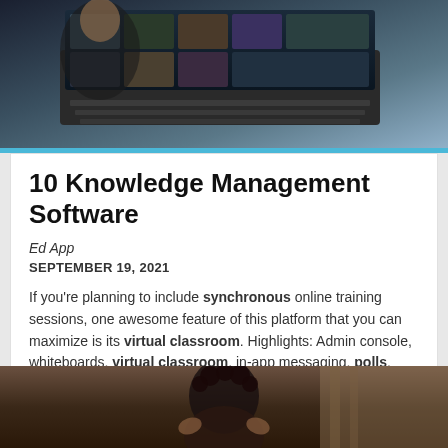[Figure (photo): Person using a laptop computer, keyboard visible, dark background with screen showing video grid]
10 Knowledge Management Software
Ed App
SEPTEMBER 19, 2021
If you're planning to include synchronous online training sessions, one awesome feature of this platform that you can maximize is its virtual classroom. Highlights: Admin console, whiteboards, virtual classroom, in-app messaging, polls.
[Figure (photo): Person with curly hair in a blurred indoor setting, appears to be in a meditative or thoughtful pose]